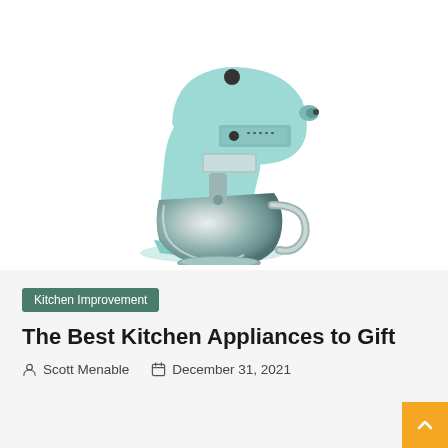[Figure (photo): A light blue KitchenAid stand mixer with a stainless steel bowl, photographed on a white background.]
Kitchen Improvement
The Best Kitchen Appliances to Gift
Scott Menable   December 31, 2021